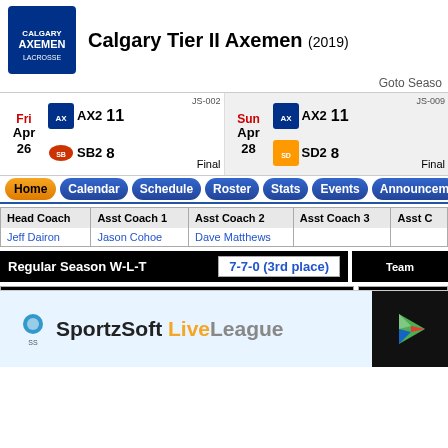Calgary Tier II Axemen (2019)
Goto Season
| Date | Team | Score | Game | Date | Team | Score | Game |
| --- | --- | --- | --- | --- | --- | --- | --- |
| Fri Apr 26 | AX2 | 11 | JS-002 Final | Sun Apr 28 | AX2 | 11 | JS-009 Final |
|  | SB2 | 8 |  |  | SD2 | 8 |  |
Home | Calendar | Schedule | Roster | Stats | Events | Announcements
| Head Coach | Asst Coach 1 | Asst Coach 2 | Asst Coach 3 | Asst C |
| --- | --- | --- | --- | --- |
| Jeff Dairon | Jason Cohoe | Dave Matthews |  |  |
Regular Season W-L-T  7-7-0 (3rd place)
Prior Game
Lost 13-3 to Sun Devils
Played on Sunday June 23 11:00 am at Moose Recreation Centre
Next
None
[Figure (logo): SportzSoft LiveLeague logo and Google Play Store button at the bottom of the page]